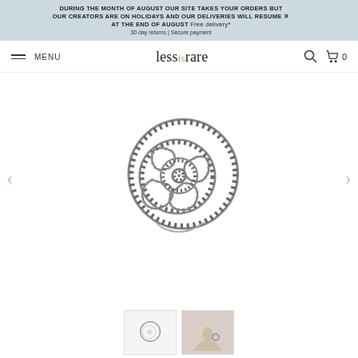DURING THE MONTH OF AUGUST OUR SITE TAKES YOUR ORDERS BUT OUR CREATORS ARE ON HOLIDAYS AND OUR DELIVERIES WILL RESUME AT THE END OF AUGUST Free delivery* 30 day returns | Secure payment
MENU | lessisrare | 🔍 | 🛒 0
[Figure (photo): A silver marcasite rose-shaped ring photographed on white background, center carousel view with left and right navigation arrows]
[Figure (photo): Two smaller thumbnail images of the same ring shown at the bottom of the page]